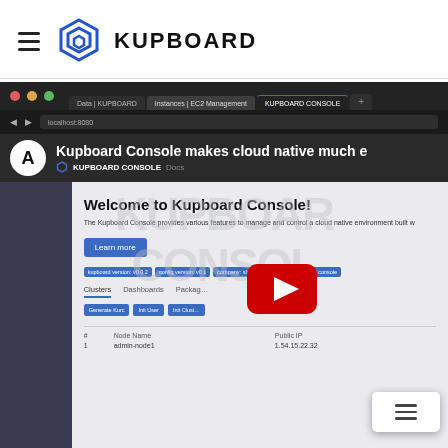KUPBOARD
[Figure (screenshot): YouTube video thumbnail/preview of Kupboard Console product page. Shows a browser with multiple tabs, a YouTube-style video embed with play button, and a preview of the Kupboard Console web application with 'Welcome to Kupboard Console!' heading, Learn more button, navigation tabs (Clusters, Dashboards, Packages), and a node table with columns #, Node Name, Public IP. Watermark text reads KUPBOARD CONSOLE.]